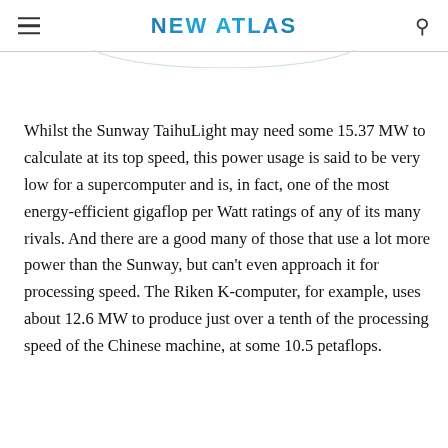NEW ATLAS
Whilst the Sunway TaihuLight may need some 15.37 MW to calculate at its top speed, this power usage is said to be very low for a supercomputer and is, in fact, one of the most energy-efficient gigaflop per Watt ratings of any of its many rivals. And there are a good many of those that use a lot more power than the Sunway, but can't even approach it for processing speed. The Riken K-computer, for example, uses about 12.6 MW to produce just over a tenth of the processing speed of the Chinese machine, at some 10.5 petaflops.